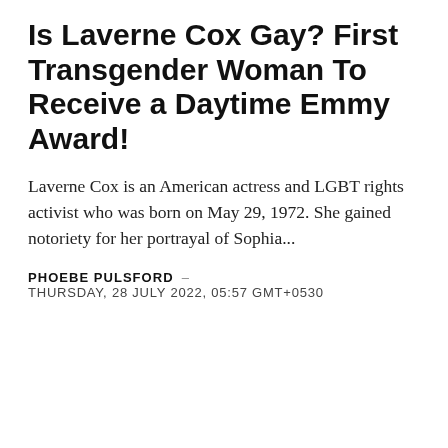Is Laverne Cox Gay? First Transgender Woman To Receive a Daytime Emmy Award!
Laverne Cox is an American actress and LGBT rights activist who was born on May 29, 1972. She gained notoriety for her portrayal of Sophia...
PHOEBE PULSFORD – THURSDAY, 28 JULY 2022, 05:57 GMT+0530